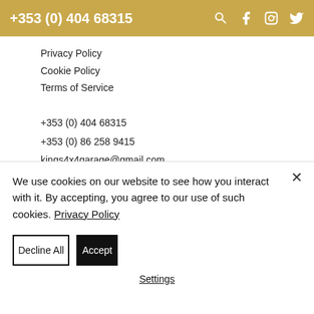+353 (0) 404 68315
Privacy Policy
Cookie Policy
Terms of Service
+353 (0) 404 68315
+353 (0) 86 258 9415
kings4x4garage@gmail.com
Greenhill Road,
Wicklow Town,
County Wicklow
A67 X720
We use cookies on our website to see how you interact with it. By accepting, you agree to our use of such cookies. Privacy Policy
Decline All
Accept
Settings